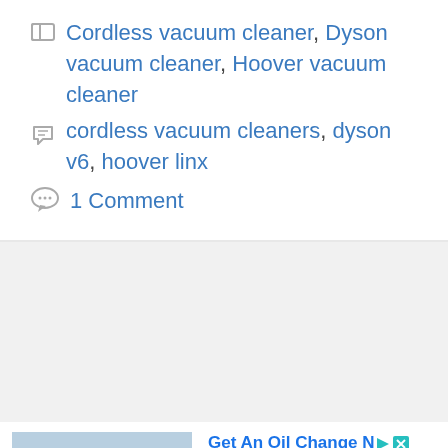Cordless vacuum cleaner, Dyson vacuum cleaner, Hoover vacuum cleaner
cordless vacuum cleaners, dyson v6, hoover linx
1 Comment
[Figure (photo): Advertisement showing a Firestone auto service store exterior with parking lot]
Get An Oil Change N You
Ad